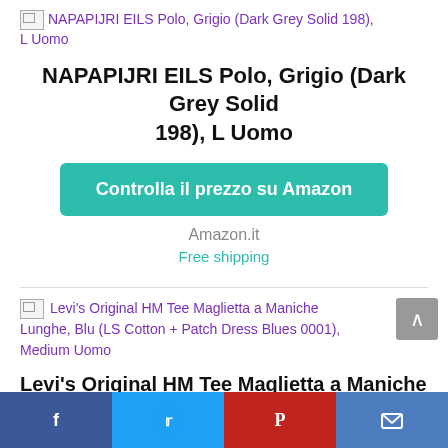[Figure (photo): Broken image placeholder for NAPAPIJRI EILS Polo, Grigio (Dark Grey Solid 198), L Uomo]
NAPAPIJRI EILS Polo, Grigio (Dark Grey Solid 198), L Uomo
NAPAPIJRI EILS Polo, Grigio (Dark Grey Solid 198), L Uomo
Controlla il prezzo su Amazon
Amazon.it
Free shipping
[Figure (photo): Broken image placeholder for Levi's Original HM Tee Maglietta a Maniche Lunghe, Blu (LS Cotton + Patch Dress Blues 0001), Medium Uomo]
Levi's Original HM Tee Maglietta a Maniche Lunghe, Blu (LS Cotton + Patch Dress Blues 0001), Medium Uomo
Levi's Original HM Tee Maglietta a Maniche
Facebook | Twitter | Pinterest | Email